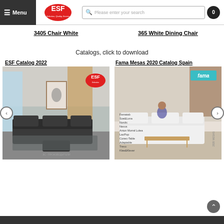Menu | ESF Logo | Please enter your search | 0
3405 Chair White
365 White Dining Chair
Catalogs, click to download
ESF Catalog 2022
Fama Mesas 2020 Catalog Spain
[Figure (photo): ESF Catalog 2022 cover showing a dark leather sofa set in a modern living room, with ESF logo badge]
[Figure (photo): Fama Mesas 2020 Catalog Spain cover showing a woman relaxing on a white sofa in a modern living room, with fama logo badge and list of product names]